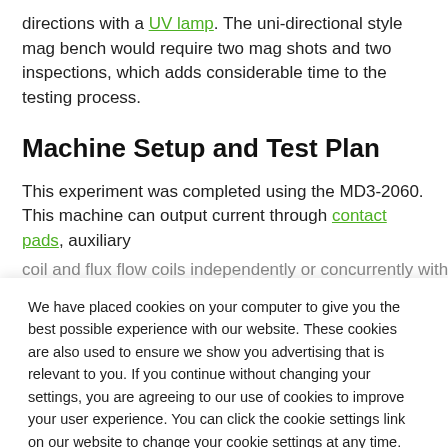directions with a UV lamp. The uni-directional style mag bench would require two mag shots and two inspections, which adds considerable time to the testing process.
Machine Setup and Test Plan
This experiment was completed using the MD3-2060. This machine can output current through contact pads, auxiliary coil and flux flow coils independently or concurrently with
We have placed cookies on your computer to give you the best possible experience with our website. These cookies are also used to ensure we show you advertising that is relevant to you. If you continue without changing your settings, you are agreeing to our use of cookies to improve your user experience. You can click the cookie settings link on our website to change your cookie settings at any time.
Cookie Settings | Accept All Cookies